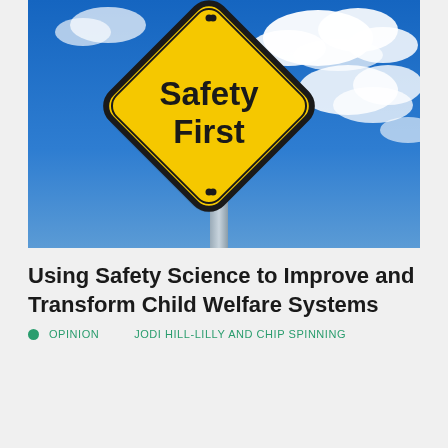[Figure (photo): A yellow diamond-shaped 'Safety First' road sign against a blue sky with white clouds. The sign has a black border and bold black text reading 'Safety First'. The sign is mounted on a gray metal pole.]
Using Safety Science to Improve and Transform Child Welfare Systems
OPINION   JODI HILL-LILLY AND CHIP SPINNING